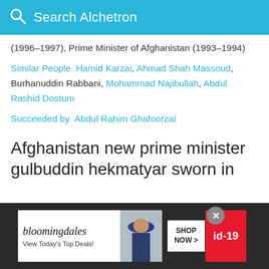Search Alchetron
(1996–1997), Prime Minister of Afghanistan (1993–1994)
Similar People  Hamid Karzai, Ahmad Shah Massoud, Burhanuddin Rabbani, Mohammad Najibullah, Abdul Rashid Dostum
Succeeded by  Abdul Rahim Ghafoorzai
Afghanistan new prime minister gulbuddin hekmatyar sworn in
[Figure (screenshot): Bloomingdale's advertisement banner with woman in hat, SHOP NOW button, and id-19 tag]